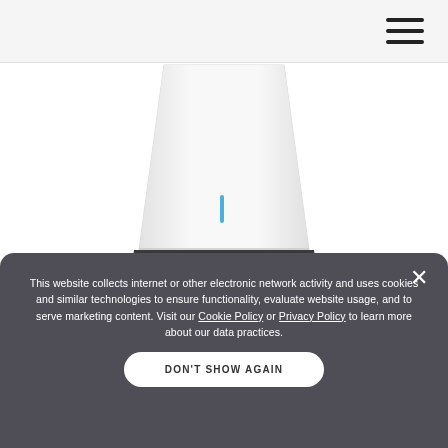[Figure (photo): White mesh/router device with dark base and a small blue LED indicator on its front, shown against a white background. Partially cropped at top.]
This website collects internet or other electronic network activity and uses cookies and similar technologies to ensure functionality, evaluate website usage, and to serve marketing content. Visit our Cookie Policy or Privacy Policy to learn more about our data practices.
DON'T SHOW AGAIN